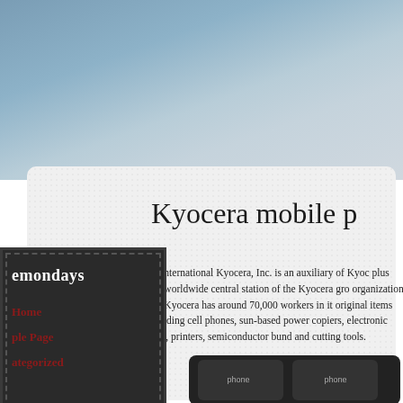[Figure (screenshot): Website screenshot showing a dark sidebar navigation widget with menu items (Home, Sample Page, Uncategorized) on the left, and a main content area with dotted/grid background on the right. The page title reads 'Kyocera mobile p' (truncated). There is a blurred blue-grey background at the top of the page.]
Kyocera mobile p
International Kyocera, Inc. is an auxiliary of Kyoo plus worldwide central station of the Kyocera gro organization, Kyocera has around 70,000 workers in it original items including cell phones, sun-based power copiers, electronic parts, printers, semiconductor bund and cutting tools.
Home
Sample Page
Uncategorized